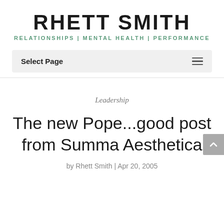RHETT SMITH
RELATIONSHIPS | MENTAL HEALTH | PERFORMANCE
Select Page
Leadership
The new Pope...good post from Summa Aesthetica
by Rhett Smith | Apr 20, 2005